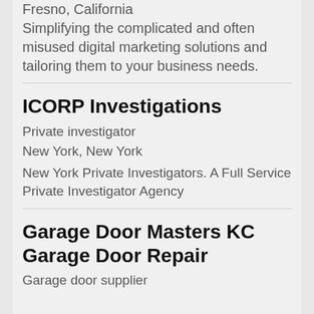Fresno, California
Simplifying the complicated and often misused digital marketing solutions and tailoring them to your business needs.
ICORP Investigations
Private investigator
New York, New York
New York Private Investigators. A Full Service Private Investigator Agency
Garage Door Masters KC Garage Door Repair
Garage door supplier